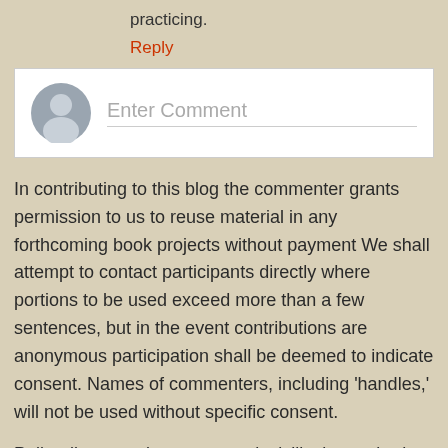practicing.
Reply
[Figure (other): Comment input box with user avatar icon and placeholder text 'Enter Comment']
In contributing to this blog the commenter grants permission to us to reuse material in any forthcoming book projects without payment We shall attempt to contact participants directly where portions to be used exceed more than a few sentences, but in the event contributions are anonymous participation shall be deemed to indicate consent. Names of commenters, including 'handles,' will not be used without specific consent.
Polite discourse is encouraged; civility is required or comments will be deleted